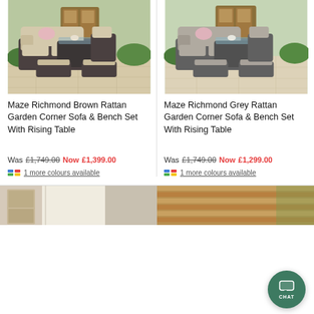[Figure (photo): Maze Richmond Brown Rattan Garden Corner Sofa & Bench Set with Rising Table outdoor furniture photo]
[Figure (photo): Maze Richmond Grey Rattan Garden Corner Sofa & Bench Set with Rising Table outdoor furniture photo]
Maze Richmond Brown Rattan Garden Corner Sofa & Bench Set With Rising Table
Maze Richmond Grey Rattan Garden Corner Sofa & Bench Set With Rising Table
Was £1,749.00 Now £1,399.00
Was £1,749.00 Now £1,299.00
1 more colours available
1 more colours available
[Figure (photo): Bottom left product photo - partial view of outdoor furniture]
[Figure (photo): Bottom right product photo - partial view of outdoor furniture]